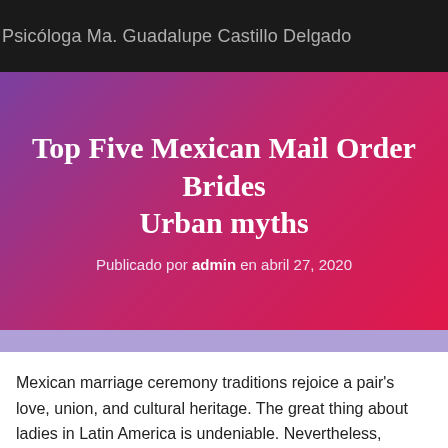Psicóloga Ma. Guadalupe Castillo Delgado
Top Five Mexican Mail Order Brides Urban myths
Publicado por admin en abril 27, 2020
Mexican marriage ceremony traditions rejoice a pair's love, union, and cultural heritage. The great thing about ladies in Latin America is undeniable. Nevertheless, Mexican girls